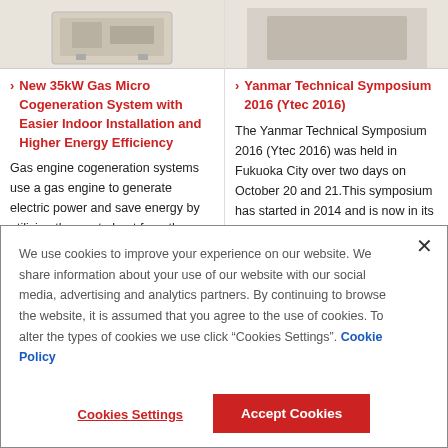[Figure (photo): Product image of a Yanmar gas micro cogeneration system unit - beige/cream colored box unit]
[Figure (photo): Product or event image (right column, partially visible)]
New 35kW Gas Micro Cogeneration System with Easier Indoor Installation and Higher Energy Efficiency
Yanmar Technical Symposium 2016 (Ytec 2016)
Gas engine cogeneration systems use a gas engine to generate electric power and save energy by utilizing the waste heat from the gas
The Yanmar Technical Symposium 2016 (Ytec 2016) was held in Fukuoka City over two days on October 20 and 21.This symposium has started in 2014 and is now in its
We use cookies to improve your experience on our website. We share information about your use of our website with our social media, advertising and analytics partners. By continuing to browse the website, it is assumed that you agree to the use of cookies. To alter the types of cookies we use click “Cookies Settings”. Cookie Policy
Cookies Settings
Accept Cookies